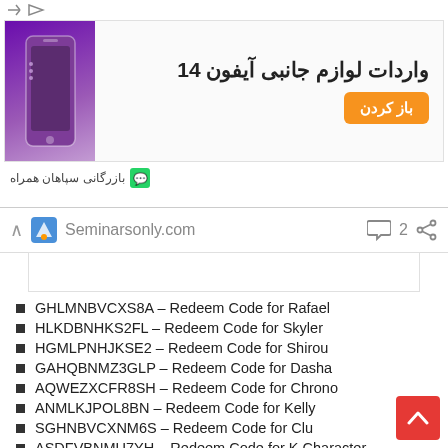[Figure (infographic): Advertisement banner for iPhone 14 accessories import with orange call-to-action button and purple iPhone image, in Persian/Farsi]
Seminarsonly.com
GHLMNBVCXS8A – Redeem Code for Rafael
HLKDBNHKS2FL – Redeem Code for Skyler
HGMLPNHJKSE2 – Redeem Code for Shirou
GAHQBNMZ3GLP – Redeem Code for Dasha
AQWEZXCFR8SH – Redeem Code for Chrono
ANMLKJPOL8BN – Redeem Code for Kelly
SGHNBVCXNM6S – Redeem Code for Clu
ASDFVBNMU7YH – Redeem Code for K Character
AGDJNKHNK66G – Redeem Code for Kapella
GBNKLMQWER5F – Redeem Code for Wofrahh